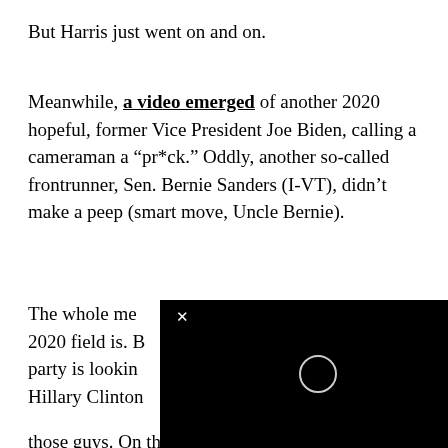But Harris just went on and on.
Meanwhile, a video emerged of another 2020 hopeful, former Vice President Joe Biden, calling a cameraman a “pr*ck.” Oddly, another so-called frontrunner, Sen. Bernie Sanders (I-VT), didn’t make a peep (smart move, Uncle Bernie).
The whole me— 2020 field is. B— party is looking— Hillary Clinton— those guys. On the other hand, Booker, 49
[Figure (screenshot): A video player overlay with black background and a loading spinner circle in the center, with a close (X) button in the upper left corner.]